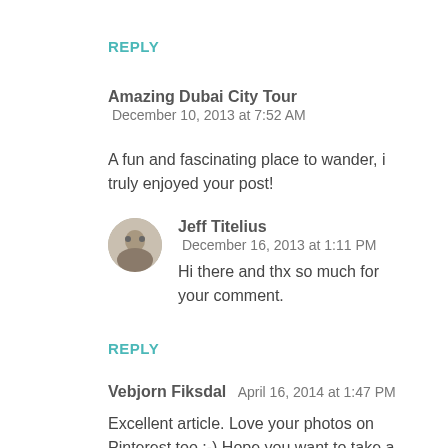REPLY
Amazing Dubai City Tour
December 10, 2013 at 7:52 AM
A fun and fascinating place to wander, i truly enjoyed your post!
[Figure (photo): Circular avatar photo of Jeff Titelius]
Jeff Titelius
December 16, 2013 at 1:11 PM
Hi there and thx so much for your comment.
REPLY
Vebjorn Fiksdal  April 16, 2014 at 1:47 PM
Excellent article. Love your photos on Pinterest too :-) Hope you want to take a look